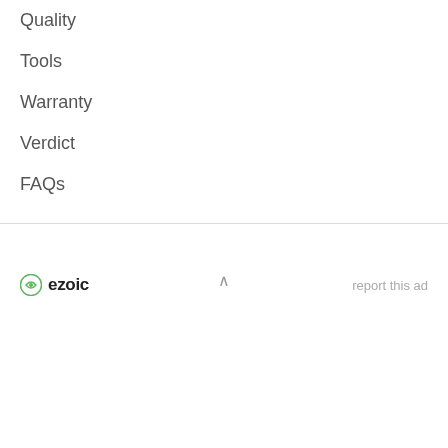Quality
Tools
Warranty
Verdict
FAQs
[Figure (logo): Ezoic logo with green circular icon and bold text 'ezoic', alongside 'report this ad' text link]
^